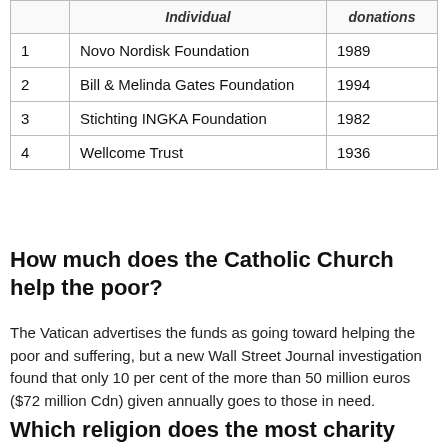|  | Individual | donations |
| --- | --- | --- |
| 1 | Novo Nordisk Foundation | 1989 |
| 2 | Bill & Melinda Gates Foundation | 1994 |
| 3 | Stichting INGKA Foundation | 1982 |
| 4 | Wellcome Trust | 1936 |
How much does the Catholic Church help the poor?
The Vatican advertises the funds as going toward helping the poor and suffering, but a new Wall Street Journal investigation found that only 10 per cent of the more than 50 million euros ($72 million Cdn) given annually goes to those in need.
Which religion does the most charity work?